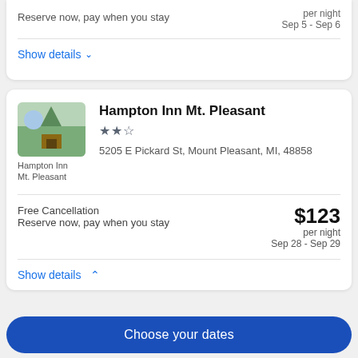Reserve now, pay when you stay
per night
Sep 5 - Sep 6
Show details ▼
Hampton Inn Mt. Pleasant
★★½
5205 E Pickard St, Mount Pleasant, MI, 48858
Free Cancellation
Reserve now, pay when you stay
$123
per night
Sep 28 - Sep 29
Show details ↑
Choose your dates